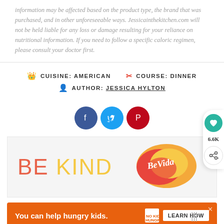information may be affected based on the product type, the brand that was purchased, and in other unforeseeable ways. Jessicainthekitchen.com will not be held liable for any loss or damage resulting for your reliance on nutritional information. If you need to follow a specific caloric regimen, please consult your doctor first.
CUISINE: AMERICAN   COURSE: DINNER   AUTHOR: JESSICA HYLTON
[Figure (other): Social media share buttons: Facebook (dark blue circle), Twitter (cyan circle), Pinterest (red circle)]
[Figure (other): BE KIND advertisement banner with decorative colorful graphic on the right side]
[Figure (other): Floating action bar with teal heart button (6.6K count) and share button]
[Figure (other): Orange advertisement banner: You can help hungry kids. No Kid Hungry logo. LEARN HOW button.]